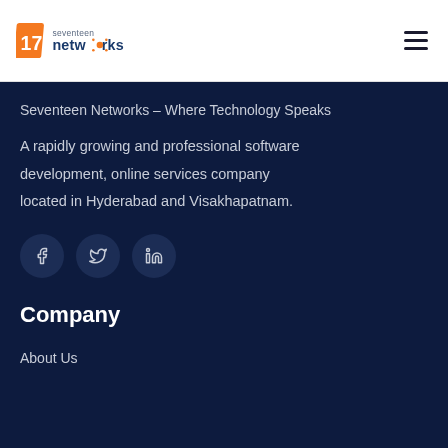[Figure (logo): Seventeen Networks logo with orange '17' icon and blue 'seventeen networks' text]
Seventeen Networks – Where Technology Speaks
A rapidly growing and professional software development, online services company located in Hyderabad and Visakhapatnam.
[Figure (illustration): Social media icons: Facebook, Twitter, LinkedIn]
Company
About Us